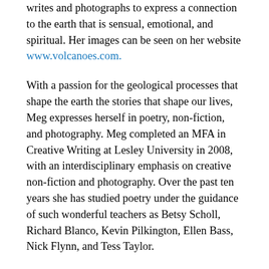writes and photographs to express a connection to the earth that is sensual, emotional, and spiritual. Her images can be seen on her website www.volcanoes.com.
With a passion for the geological processes that shape the earth the stories that shape our lives, Meg expresses herself in poetry, non-fiction, and photography. Meg completed an MFA in Creative Writing at Lesley University in 2008, with an interdisciplinary emphasis on creative non-fiction and photography. Over the past ten years she has studied poetry under the guidance of such wonderful teachers as Betsy Scholl, Richard Blanco, Kevin Pilkington, Ellen Bass, Nick Flynn, and Tess Taylor.